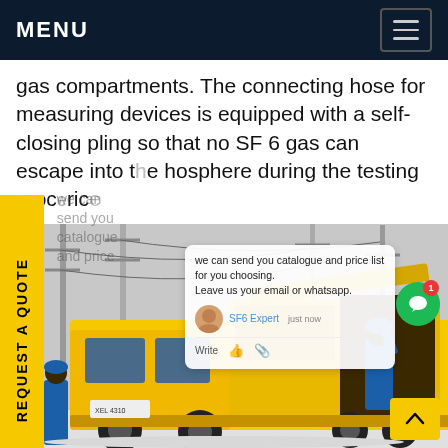MENU
gas compartments. The connecting hose for measuring devices is equipped with a self-closing pling so that no SF 6 gas can escape into the hosphere during the testing proce price
[Figure (photo): Yellow utility truck with workers in blue uniforms at an electrical substation, winter scene with power line infrastructure in background]